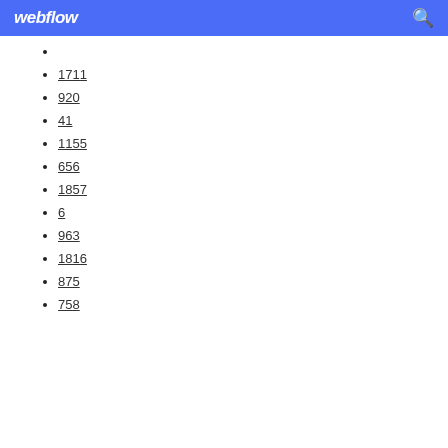webflow
1711
920
41
1155
656
1857
6
963
1816
875
758